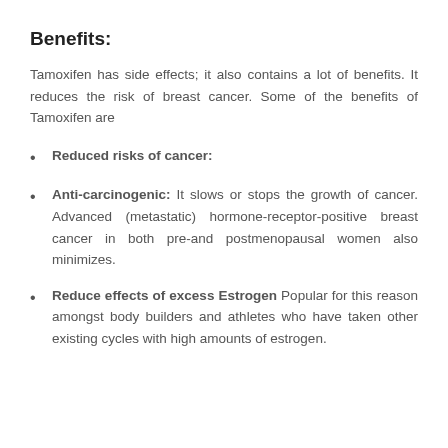Benefits:
Tamoxifen has side effects; it also contains a lot of benefits. It reduces the risk of breast cancer. Some of the benefits of Tamoxifen are
Reduced risks of cancer:
Anti-carcinogenic: It slows or stops the growth of cancer. Advanced (metastatic) hormone-receptor-positive breast cancer in both pre-and postmenopausal women also minimizes.
Reduce effects of excess Estrogen Popular for this reason amongst body builders and athletes who have taken other existing cycles with high amounts of estrogen.